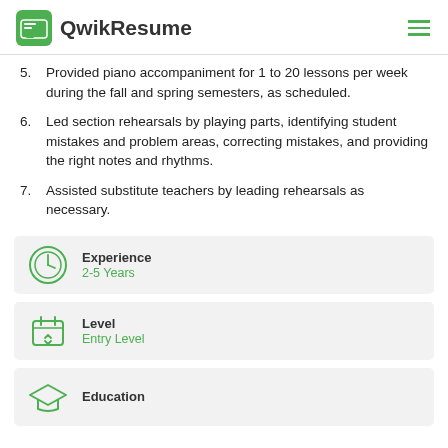QwikResume
5. Provided piano accompaniment for 1 to 20 lessons per week during the fall and spring semesters, as scheduled.
6. Led section rehearsals by playing parts, identifying student mistakes and problem areas, correcting mistakes, and providing the right notes and rhythms.
7. Assisted substitute teachers by leading rehearsals as necessary.
[Figure (infographic): Experience info card with clock icon showing 2-5 Years]
[Figure (infographic): Level info card with calendar icon showing Entry Level]
[Figure (infographic): Education info card with graduation cap icon (partially visible)]